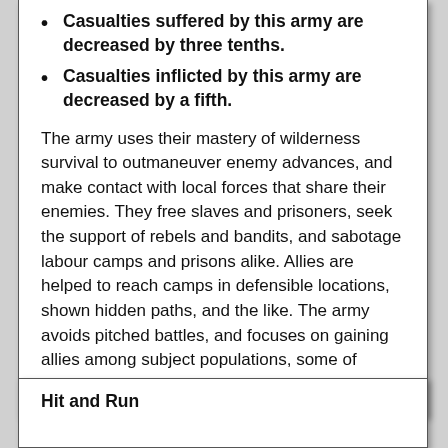Casualties suffered by this army are decreased by three tenths.
Casualties inflicted by this army are decreased by a fifth.
The army uses their mastery of wilderness survival to outmaneuver enemy advances, and make contact with local forces that share their enemies. They free slaves and prisoners, seek the support of rebels and bandits, and sabotage labour camps and prisons alike. Allies are helped to reach camps in defensible locations, shown hidden paths, and the like. The army avoids pitched battles, and focuses on gaining allies among subject populations, some of whom join the army as fresh recruits.
Hit and Run